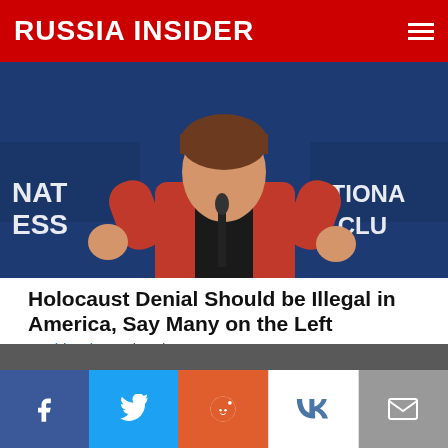RUSSIA INSIDER
[Figure (photo): Woman in red jacket speaking at a podium with microphone, National Press Club backdrop visible]
Holocaust Denial Should be Illegal in America, Say Many on the Left
David Cole Wed, Feb 12 3329
[Figure (other): Advertisement banner with blue sky and cloud graphics]
Support Russia Insider - Go Ad-Free!
Social share buttons: Facebook, Twitter, Reddit, VK, Email